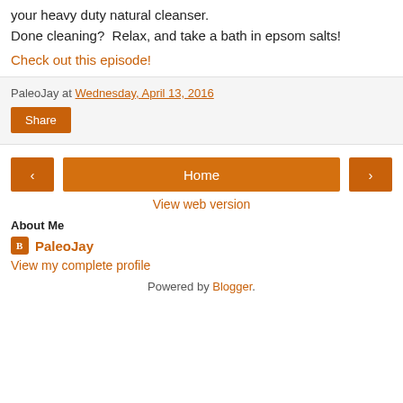your heavy duty natural cleanser.
Done cleaning?  Relax, and take a bath in epsom salts!
Check out this episode!
PaleoJay at Wednesday, April 13, 2016
Share
Home
View web version
About Me
PaleoJay
View my complete profile
Powered by Blogger.